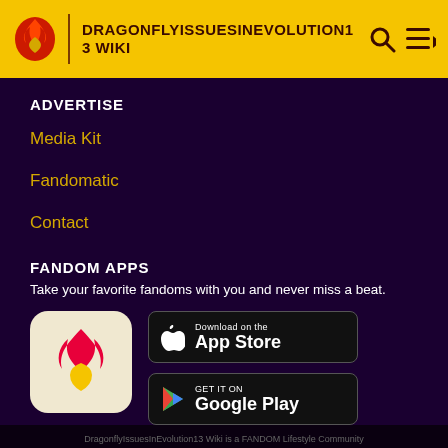DRAGONFLYISSUESINE VOLUTION13 WIKI
ADVERTISE
Media Kit
Fandomatic
Contact
FANDOM APPS
Take your favorite fandoms with you and never miss a beat.
[Figure (logo): Fandom app icon with flame and heart logo on cream background]
[Figure (logo): Download on the App Store badge]
[Figure (logo): Get it on Google Play badge]
DragonflyIssuesInEvolution13 Wiki is a FANDOM Lifestyle Community